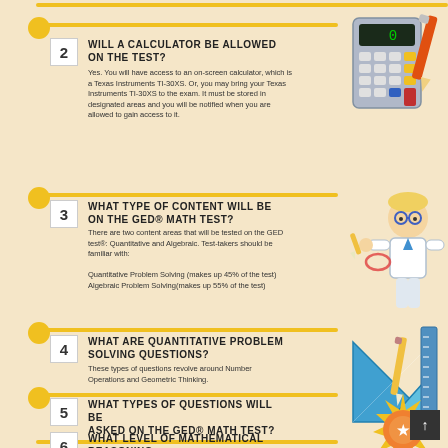2 WILL A CALCULATOR BE ALLOWED ON THE TEST?
Yes. You will have access to an on-screen calculator, which is a Texas Instruments TI-30XS. Or, you may bring your Texas Instruments TI-30XS to the exam. It must be stored in designated areas and you will be notified when you are allowed to gain access to it.
3 WHAT TYPE OF CONTENT WILL BE ON THE GED® MATH TEST?
There are two content areas that will be tested on the GED test®: Quantitative and Algebraic. Test-takers should be familiar with:

Quantitative Problem Solving (makes up 45% of the test)
Algebraic Problem Solving(makes up 55% of the test)
4 WHAT ARE QUANTITATIVE PROBLEM SOLVING QUESTIONS?
These types of questions revolve around Number Operations and Geometric Thinking.
5 WHAT TYPES OF QUESTIONS WILL BE ASKED ON THE GED® MATH TEST?
There are five types of questions on the exam:
Multiple Choice
Fill-in-the-blank
Hot-spot
Drag and drop
Drop-down
6 WHAT LEVEL OF MATHEMATICAL REASONING
[Figure (illustration): Calculator illustration with orange pen]
[Figure (illustration): Student with glasses holding pencil]
[Figure (illustration): Ruler, triangle, and pencil tools illustration]
[Figure (illustration): Gold badge/award medal illustration]